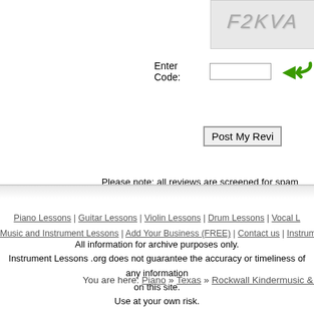[Figure (other): CAPTCHA image showing distorted text F2KVA on a grey speckled background]
Enter Code:
Please note: all reviews are screened for spam
You are here: Piano » Texas » Rockwall Kindermusic & P
Piano Lessons | Guitar Lessons | Violin Lessons | Drum Lessons | Vocal L
Music and Instrument Lessons | Add Your Business (FREE) | Contact us | Instrume
All information for archive purposes only.
Instrument Lessons .org does not guarantee the accuracy or timeliness of any information on this site.
Use at your own risk.